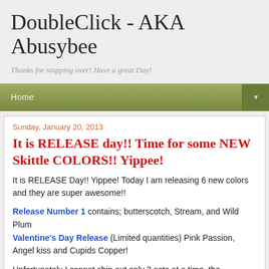DoubleClick - AKA Abusybee
Thanks for stopping over! Have a great Day!
Home
Sunday, January 20, 2013
It is RELEASE day!! Time for some NEW Skittle COLORS!! Yippee!
It is RELEASE Day!! Yippee! Today I am releasing 6 new colors and they are super awesome!!
Release Number 1 contains; butterscotch, Stream, and Wild Plum
Valentine's Day Release (Limited quantities) Pink Passion, Angel kiss and Cupids Copper!
Unfortunately I cannot ship out only 3 sets at a time, the